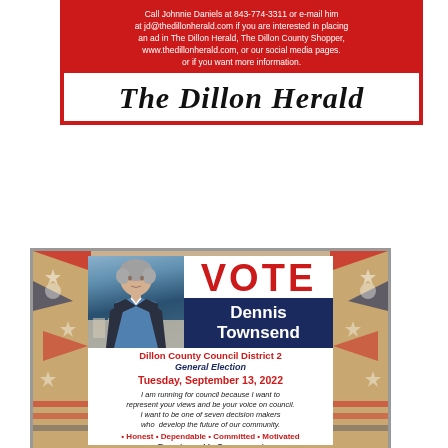[Figure (advertisement): The Dillon Herald advertisement box with red border. Red header text: 'Call Johnnie Daniels at 843-774-3311 or e-mail him at jd@thedillonherald.com if you are interested in placing an ad in The Dillon Herald, The Dillon County Shopper, www.thedillonherald.com, or our social media pages. or if you want more information.' Below is the newspaper masthead logo 'The Dillon Herald' in blackletter font.]
[Figure (advertisement): Political advertisement for Dennis Townsend. Patriotic background with stars and stripes. Inner white area shows candidate photo on left, large red VOTE text and dark blue name box with 'Dennis Townsend' on right. Below: 'Dillon County Council District 2', 'General Election', 'Tuesday, September 13, 2022'. Italic text: 'I am running for council because I want to represent your views and be your voice on council. I want to be one of seven decision makers who develop the future of our community.' Bullet line: '• Honest • Dependable • Committed • Motivated'. Bottom: 'Experienced In Government']